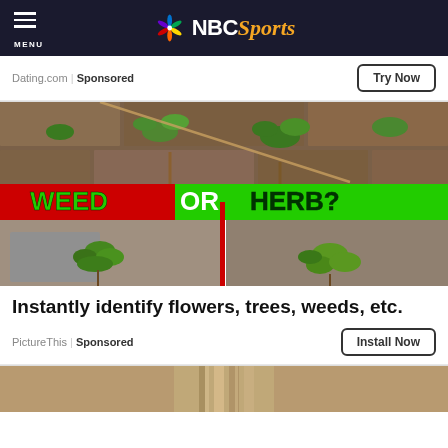MENU | NBC Sports
Dating.com | Sponsored
Try Now
[Figure (photo): A composite image showing green plants growing between brick/pavement gaps. A banner across the middle reads 'WEED OR HERB?' in bold lettering — 'WEED' in green on a red background, 'OR' in white on green, 'HERB?' in green on green. Bottom half shows two side-by-side photos of small leafy plants growing in soil/pavement.]
Instantly identify flowers, trees, weeds, etc.
PictureThis | Sponsored
Install Now
[Figure (photo): Bottom partial image showing a metallic cylindrical object, partially visible at the bottom of the page.]